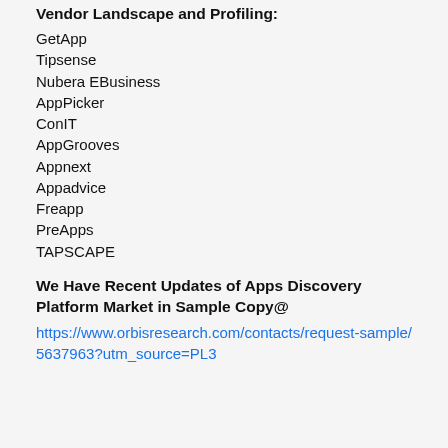Vendor Landscape and Profiling:
GetApp
Tipsense
Nubera EBusiness
AppPicker
ConIT
AppGrooves
Appnext
Appadvice
Freapp
PreApps
TAPSCAPE
We Have Recent Updates of Apps Discovery Platform Market in Sample Copy@
https://www.orbisresearch.com/contacts/request-sample/5637963?utm_source=PL3